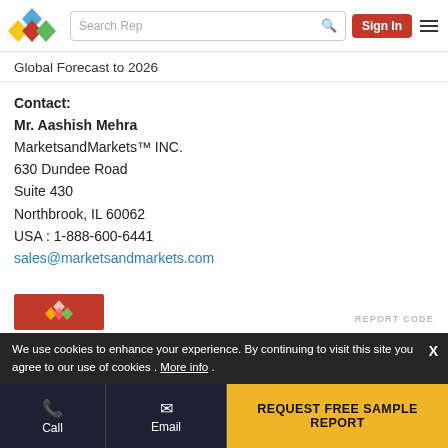MarketsandMarkets logo, Search Rep, Sign In, Menu
Global Forecast to 2026
Contact:
Mr. Aashish Mehra
MarketsandMarkets™ INC.
630 Dundee Road
Suite 430
Northbrook, IL 60062
USA : 1-888-600-6441
sales@marketsandmarkets.com
REPORT CODE
We use cookies to enhance your experience. By continuing to visit this site you agree to our use of cookies . More info.
Call  Email  REQUEST FREE SAMPLE REPORT